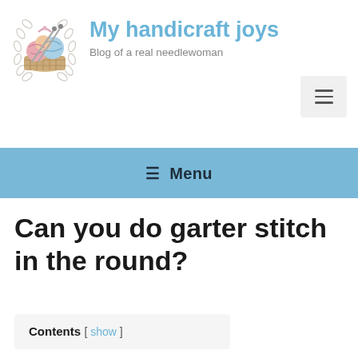My handicraft joys — Blog of a real needlewoman
[Figure (logo): Circular logo with a basket of yarn balls and knitting needles, surrounded by a laurel wreath, in soft pastel colors]
My handicraft joys
Blog of a real needlewoman
≡ Menu
Can you do garter stitch in the round?
Contents [ show ]